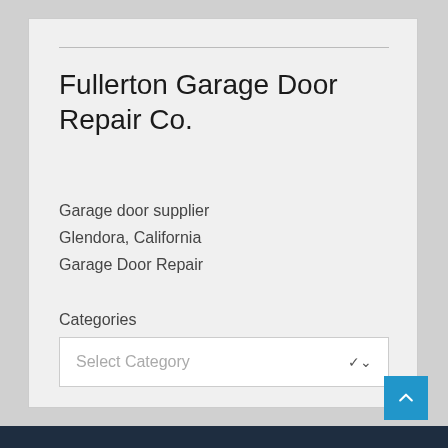Fullerton Garage Door Repair Co.
Garage door supplier
Glendora, California
Garage Door Repair
Categories
Select Category